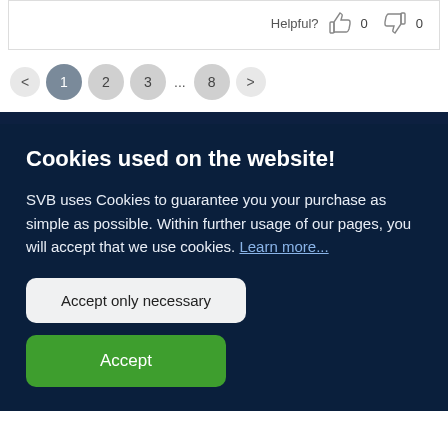Helpful? 👍 0 👎 0
< 1 2 3 ... 8 >
Cookies used on the website!
SVB uses Cookies to guarantee you your purchase as simple as possible. Within further usage of our pages, you will accept that we use cookies. Learn more...
Accept only necessary
Accept